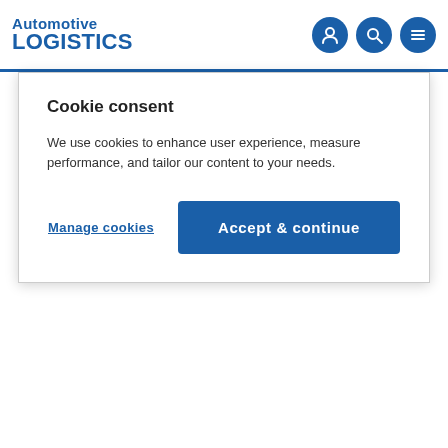Automotive LOGISTICS
Cookie consent
We use cookies to enhance user experience, measure performance, and tailor our content to your needs.
Manage cookies | Accept & continue
AGVs to take the tools to and from the new press.
The pressure which the new press can apply is 2,500 tonnes.
Construction of the new press facility began in 2019 and BMW has installed a number of features aimed at reducing emissions. Water is collected from the roof for industrial use, the main hall is heated by capturing output from the press hydraulics and BMW has introduced more natural light into